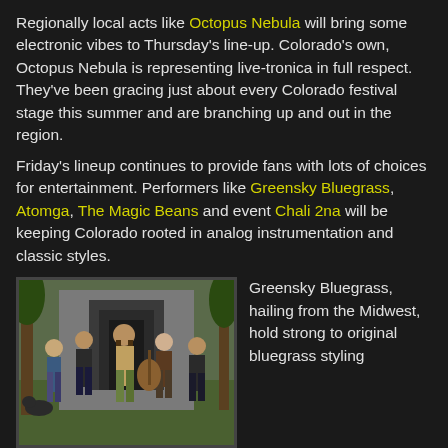Regionally local acts like Octopus Nebula will bring some electronic vibes to Thursday's line-up. Colorado's own, Octopus Nebula is representing live-tronica in full respect. They've been gracing just about every Colorado festival stage this summer and are branching up and out in the region.
Friday's lineup continues to provide fans with lots of choices for entertainment. Performers like Greensky Bluegrass, Atomga, The Magic Beans and event Chali 2na will be keeping Colorado rooted in analog instrumentation and classic styles.
[Figure (photo): Band photo of Greensky Bluegrass standing outdoors in front of a concrete structure, with trees visible. Several members holding instruments. Group shot on grass.]
Greensky Bluegrass, hailing from the Midwest, hold strong to original bluegrass styling while staying relevant in today's festival scene. Relentless